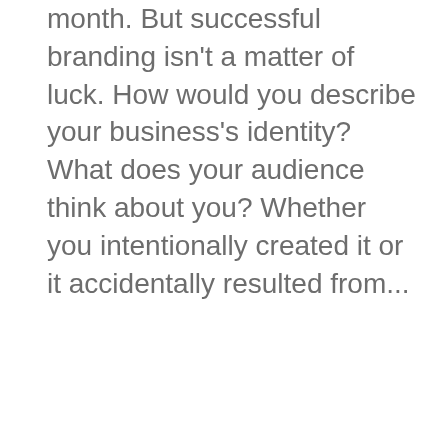month. But successful branding isn't a matter of luck. How would you describe your business's identity? What does your audience think about you? Whether you intentionally created it or it accidentally resulted from...